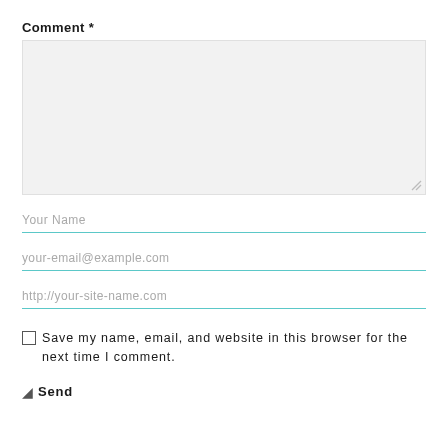Comment *
[Figure (other): Large empty textarea input box with light gray background and resize handle at bottom right]
Your Name
your-email@example.com
http://your-site-name.com
Save my name, email, and website in this browser for the next time I comment.
Send